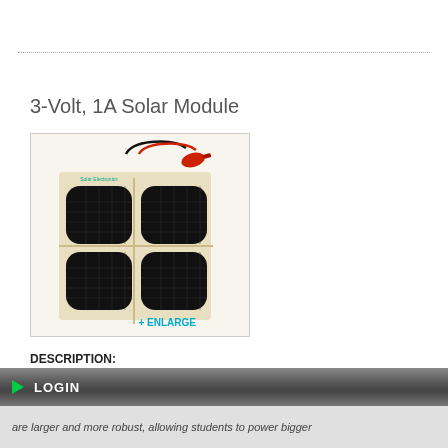3-Volt, 1A Solar Module
[Figure (photo): A 3-Volt 1A solar module/panel with black and red alligator clip wires attached at the top. The panel has four dark photovoltaic cells arranged in a 2x2 grid on a beige/cream backing board.]
DESCRIPTION:
LOGIN
are larger and more robust, allowing students to power bigger